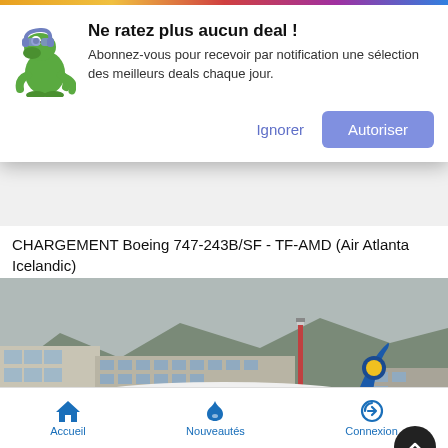[Figure (screenshot): Notification popup with dinosaur mascot icon, title 'Ne ratez plus aucun deal !', body text, and Ignorer/Autoriser buttons]
CHARGEMENT Boeing 747-243B/SF - TF-AMD (Air Atlanta Icelandic)
[Figure (photo): Air Atlanta Icelandic Boeing 747 aircraft on airport tarmac with terminal buildings and mountains in background]
British Aerospace Avro RJ100 - HB-IYW (Swiss European Air
Accueil  Nouveautés  Connexion